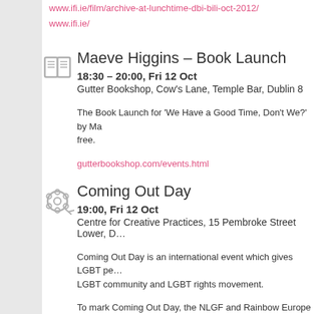www.ifi.ie/film/archive-at-lunchtime-dbi-bili-oct-2012/
www.ifi.ie/
Maeve Higgins – Book Launch
18:30 – 20:00, Fri 12 Oct
Gutter Bookshop, Cow's Lane, Temple Bar, Dublin 8
The Book Launch for 'We Have a Good Time, Don't We?' by Ma… free.
gutterbookshop.com/events.html
Coming Out Day
19:00, Fri 12 Oct
Centre for Creative Practices, 15 Pembroke Street Lower, D…
Coming Out Day is an international event which gives LGBT pe… LGBT community and LGBT rights movement.
To mark Coming Out Day, the NLGF and Rainbow Europe will s… who was born in a male body and decided to finally begin her lif… transgender MP in the world. The screening will be in Polish wit…
Admission is free, but booking is required via comingout@rainbo…